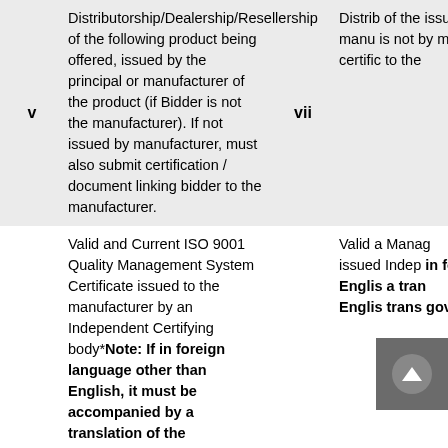| v | Distributorship/Dealership/Resellership of the following product being offered, issued by the principal or manufacturer of the product (if Bidder is not the manufacturer). If not issued by manufacturer, must also submit certification / document linking bidder to the manufacturer. | vii | Distributorship/Dealership/Resellership of the following product being offered, issued by the principal or manufacturer of the product (if Bidder is not the manufacturer). If not issued by manufacturer, must also submit certification / document linking bidder to the manufacturer. |
| vi | Valid and Current ISO 9001 Quality Management System Certificate issued to the manufacturer by an Independent Certifying body*Note:  If in foreign language other than English, it must be accompanied by a translation of the documents in English.  The documents shall be translated by the relevant foreign government agency, the foreign | viii | Valid and Current ISO 9001 Quality Management System Certificate issued to the manufacturer by an Independent Certifying body*Note:  If in foreign language other than English, it must be accompanied by a translation of the documents in English.  The documents shall be translated by the relevant foreign government agency, the foreign |